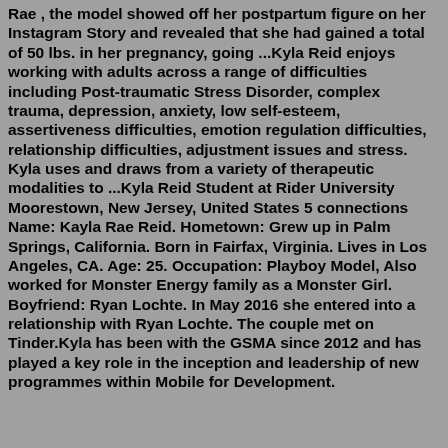Rae , the model showed off her postpartum figure on her Instagram Story and revealed that she had gained a total of 50 lbs. in her pregnancy, going ...Kyla Reid enjoys working with adults across a range of difficulties including Post-traumatic Stress Disorder, complex trauma, depression, anxiety, low self-esteem, assertiveness difficulties, emotion regulation difficulties, relationship difficulties, adjustment issues and stress. Kyla uses and draws from a variety of therapeutic modalities to ...Kyla Reid Student at Rider University Moorestown, New Jersey, United States 5 connections Name: Kayla Rae Reid. Hometown: Grew up in Palm Springs, California. Born in Fairfax, Virginia. Lives in Los Angeles, CA. Age: 25. Occupation: Playboy Model, Also worked for Monster Energy family as a Monster Girl. Boyfriend: Ryan Lochte. In May 2016 she entered into a relationship with Ryan Lochte. The couple met on Tinder.Kyla has been with the GSMA since 2012 and has played a key role in the inception and leadership of new programmes within Mobile for Development.